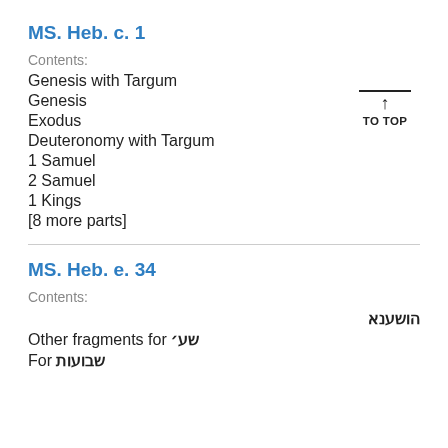MS. Heb. c. 1
Contents:
Genesis with Targum
Genesis
Exodus
Deuteronomy with Targum
1 Samuel
2 Samuel
1 Kings
[8 more parts]
MS. Heb. e. 34
Contents:
הושענא
Other fragments for שע׳
For שבועות